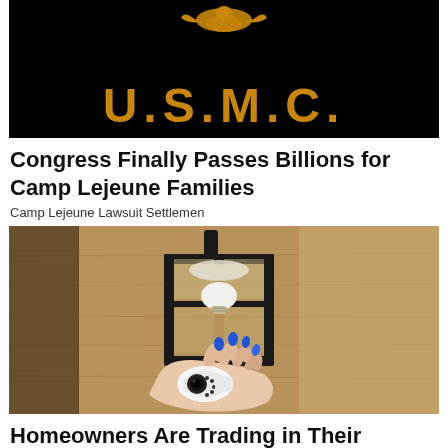[Figure (photo): USMC logo with eagle on black background, gold/orange lettering spelling U.S.M.C.]
Congress Finally Passes Billions for Camp Lejeune Families
Camp Lejeune Lawsuit Settlemen
[Figure (photo): A hand with blue painted nails holds a small white security camera near a black outdoor wall lantern mounted on a textured stone/stucco wall.]
Homeowners Are Trading in Their Doorbell Cams for This.